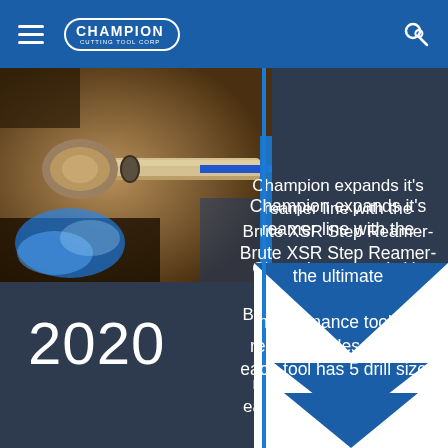Champion Cutting Tool Corp
[Figure (photo): Close-up of a metal cutting/reaming tool in operation with blue coolant fluid spray, machining a metallic workpiece]
Champion expands it's reamer line with the Brute XSR Step Reamer- the ultimate maintenance tool for reaming holes in steel- each tool has 5 drill sizes
2020
[Figure (illustration): Blue and white envelope/arrow graphic in lower right corner]